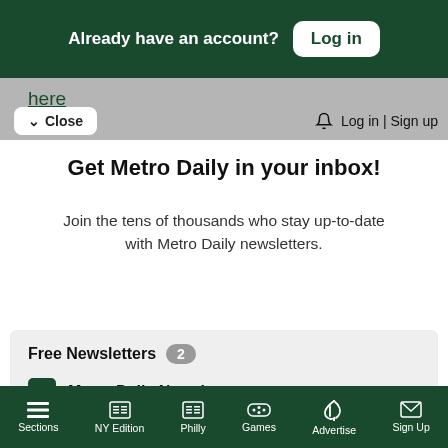Already have an account? Log in
here
Close
Log in | Sign up
Get Metro Daily in your inbox!
Join the tens of thousands who stay up-to-date with Metro Daily newsletters.
Free Newsletters 2
Metro Daily Newsletter
Metro Events
Sections | NY Edition | Philly | Games | Advertise | Sign Up